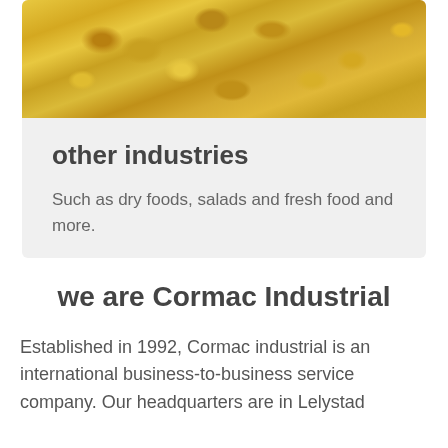[Figure (photo): Close-up photo of dry fusilli/rotini pasta, yellow-golden color filling the frame]
other industries
Such as dry foods, salads and fresh food and more.
we are Cormac Industrial
Established in 1992, Cormac industrial is an international business-to-business service company. Our headquarters are in Lelystad and the Netherlands and we operate globally.